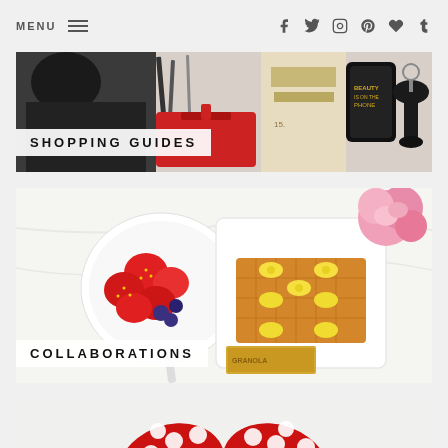MENU [hamburger icon] [social icons: f, twitter, instagram, pinterest, heart, tumblr]
[Figure (photo): Shopping guides banner with fashion accessories: black top, red handbag, gold items, beauty phone case, black object - label overlay reads SHOPPING GUIDES]
[Figure (photo): Aerial view of breakfast tray with waffles topped with banana slices, bowl of strawberries and blueberries, pink roses in background - label overlay reads COLLABORATIONS]
[Figure (photo): Hand holding a red polka dot Minnie Mouse bow headband against white/grey background - label reads DISNEY (partially visible)]